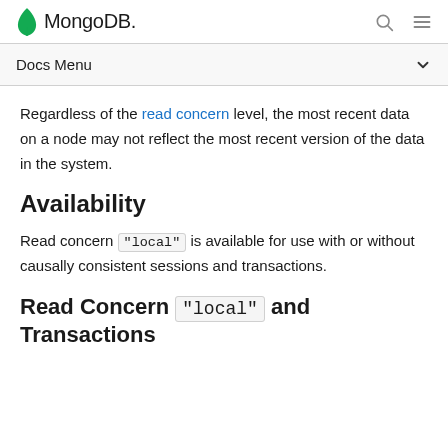MongoDB  [search icon] [menu icon]
Docs Menu
Regardless of the read concern level, the most recent data on a node may not reflect the most recent version of the data in the system.
Availability
Read concern "local" is available for use with or without causally consistent sessions and transactions.
Read Concern "local" and Transactions